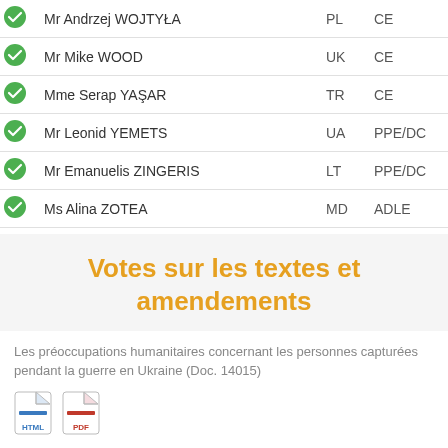|  | Name | Country | Group |
| --- | --- | --- | --- |
| ✓ | Mr Andrzej WOJTYŁA | PL | CE |
| ✓ | Mr Mike WOOD | UK | CE |
| ✓ | Mme Serap YAŞAR | TR | CE |
| ✓ | Mr Leonid YEMETS | UA | PPE/DC |
| ✓ | Mr Emanuelis ZINGERIS | LT | PPE/DC |
| ✓ | Ms Alina ZOTEA | MD | ADLE |
Votes sur les textes et amendements
Les préoccupations humanitaires concernant les personnes capturées pendant la guerre en Ukraine (Doc. 14015)
[Figure (illustration): HTML file icon]
[Figure (illustration): PDF file icon]
21/04/2016 - Amendement 4
21/04/2016 - Amendement 5